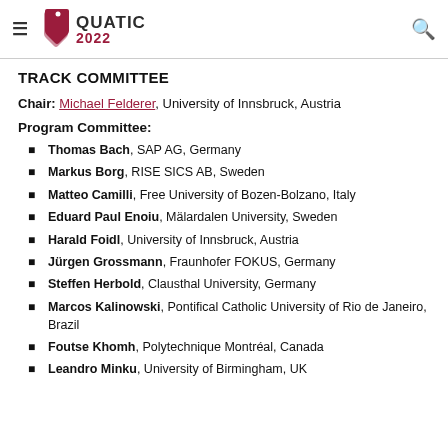QUATIC 2022
TRACK COMMITTEE
Chair: Michael Felderer, University of Innsbruck, Austria
Program Committee:
Thomas Bach, SAP AG, Germany
Markus Borg, RISE SICS AB, Sweden
Matteo Camilli, Free University of Bozen-Bolzano, Italy
Eduard Paul Enoiu, Mälardalen University, Sweden
Harald Foidl, University of Innsbruck, Austria
Jürgen Grossmann, Fraunhofer FOKUS, Germany
Steffen Herbold, Clausthal University, Germany
Marcos Kalinowski, Pontifical Catholic University of Rio de Janeiro, Brazil
Foutse Khomh, Polytechnique Montréal, Canada
Leandro Minku, University of Birmingham, UK